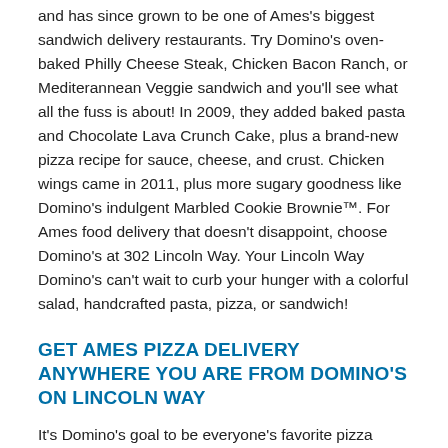and has since grown to be one of Ames's biggest sandwich delivery restaurants. Try Domino's oven-baked Philly Cheese Steak, Chicken Bacon Ranch, or Mediterannean Veggie sandwich and you'll see what all the fuss is about! In 2009, they added baked pasta and Chocolate Lava Crunch Cake, plus a brand-new pizza recipe for sauce, cheese, and crust. Chicken wings came in 2011, plus more sugary goodness like Domino's indulgent Marbled Cookie Brownie™. For Ames food delivery that doesn't disappoint, choose Domino's at 302 Lincoln Way. Your Lincoln Way Domino's can't wait to curb your hunger with a colorful salad, handcrafted pasta, pizza, or sandwich!
GET AMES PIZZA DELIVERY ANYWHERE YOU ARE FROM DOMINO'S ON LINCOLN WAY
It's Domino's goal to be everyone's favorite pizza delivery company, in Ames and beyond, and everything they do ties back to that desire. As soon as your pasta, pizza, or sandwich leaves the restaurant at 302 Lincoln Way, the Domino's Tracker® will notify you. Follow your order right up to your front door or track it as it's delivered somewhere else if you're out and about. (Wait,